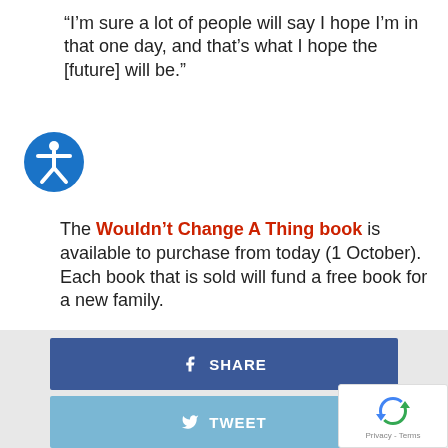“I’m sure a lot of people will say I hope I’m in that one day, and that’s what I hope the [future] will be.”
[Figure (illustration): Circular blue accessibility icon with white person figure in center]
The Wouldn’t Change A Thing book is available to purchase from today (1 October). Each book that is sold will fund a free book for a new family.
Featured image credit: Robert Wilson Photography
[Figure (infographic): Three social sharing buttons: SHARE (dark blue, Facebook), TWEET (light blue, Twitter), PIN (red, Pinterest)]
[Figure (logo): reCAPTCHA badge with spinning arrows icon and Privacy - Terms text]